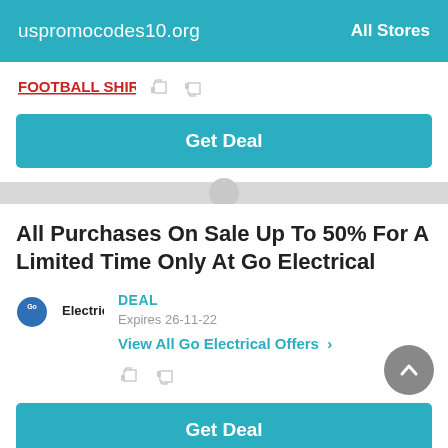uspromocodes10.org   All Stores
[Figure (logo): Football Shirts logo in red text]
Get Deal
All Purchases On Sale Up To 50% For A Limited Time Only At Go Electrical
[Figure (logo): Go Electrical logo with blue circle and Electrical text]
DEAL
Expires 26-11-22
View All Go Electrical Offers >
Get Deal